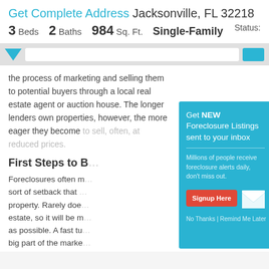Get Complete Address Jacksonville, FL 32218
3 Beds  2 Baths  984 Sq. Ft.  Single-Family  Status:
the process of marketing and selling them to potential buyers through a local real estate agent or auction house. The longer lenders own properties, however, the more eager they become to sell, often, at reduced prices.
First Steps to B
Foreclosures often r... sort of setback that... property. Rarely doe... estate, so it will be m... as possible. A fast tu... big part of the marke... sale. In order to take... are some basic steps to be followed.
Read more...
[Figure (infographic): Modal popup with cyan background: 'Get NEW Foreclosure Listings sent to your inbox' with subtitle 'Millions of people receive foreclosure alerts daily, don't miss out.' A red 'Signup Here' button and envelope icon, with 'No Thanks | Remind Me Later' link.]